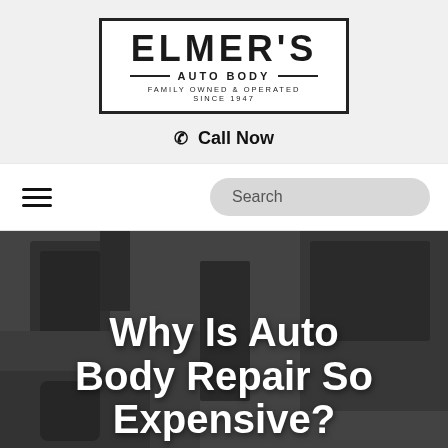[Figure (logo): Elmer's Auto Body logo in a bordered box. Large text ELMER'S at top, AUTO BODY with lines on sides in middle, FAMILY OWNED & OPERATED SINCE 1947 at bottom.]
Call Now
[Figure (screenshot): Navigation bar with hamburger menu icon on left and Search input field on right.]
Why Is Auto Body Repair So Expensive?